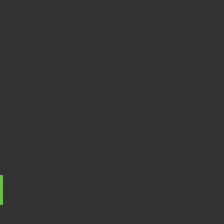https://theprose.com/post/50087/u... contract
rehsrehawreg
(Tuesday, August 30 22 02:54 am E...
https://www.podcasts.com/serieyou... saison-3-series-en-streaming-vf-gra...
https://www.podcasts.com/serieyou... hulk-avocate-1x3-saison-1-streamin...
https://www.podcasts.com/serieyou... samourai-les-chroniques-dusagi-sa... gratuit
https://www.podcasts.com/serieyou... trek-lower-decks-3x2-saison-3-stre...
https://www.podcasts.com/serieyou... quinn-3x8-saison-3-streaming-vfhd-...
https://www.podcasts.com/serieyou... alien-2x12-saison-2-streaming-vfhd...
https://www.podcasts.com/serieyou... ohio-1x1-saison-1-series-en-stream...
https://www.podcasts.com/serieyou... ella-saison-1-streaming-vf-hd-vostfr...
https://www.podcasts.com/serieyou... pantheon-1x1-saison-1-streaming-v...
https://www.podcasts.com/serieyou... the-walking-dead-1x4-saison-1-stre...
https://www.podcasts.com/serieyou... morty-saison-6-series-en-streaming...
https://www.podcasts.com/serieyou...